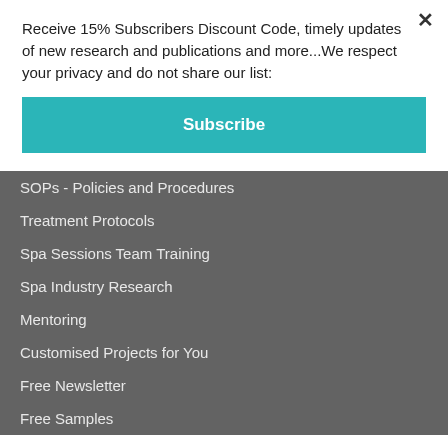Receive 15% Subscribers Discount Code, timely updates of new research and publications and more...We respect your privacy and do not share our list:
Subscribe
SOPs - Policies and Procedures
Treatment Protocols
Spa Sessions Team Training
Spa Industry Research
Mentoring
Customised Projects for You
Free Newsletter
Free Samples